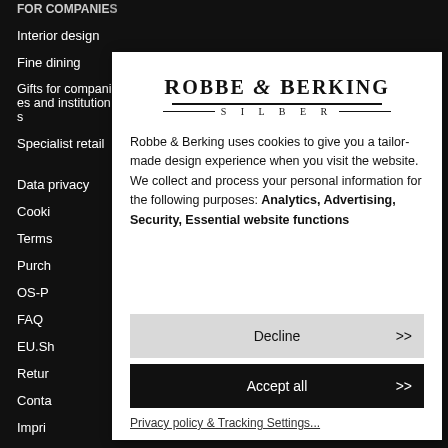FOR COMPANIES
Interior design
Fine dining
Gifts for companies and institutions
Specialist retail
Data privacy
Cookie...
Terms...
Purch...
OS-P...
FAQ
EU.Sh...
Retur...
Conta...
Impri...
[Figure (logo): Robbe & Berking Silber logo with serif font and decorative lines]
Robbe & Berking uses cookies to give you a tailor-made design experience when you visit the website. We collect and process your personal information for the following purposes: Analytics, Advertising, Security, Essential website functions
Decline >>
Accept all >>
Privacy policy & Tracking Settings...